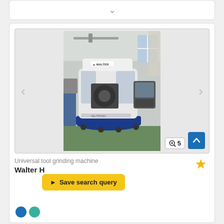[Figure (screenshot): Top collapsed card with chevron/down arrow]
[Figure (photo): Walter brand universal tool grinding machine in workshop setting, with CNC control panel on right side. White cylindrical machining center with blue base ring. Carousel with left/right navigation arrows. Zoom badge showing '5' and blue scroll-up button in bottom-right corner.]
Universal tool grinding machine
Walter H
[Figure (screenshot): Yellow 'Save search query' button with arrow icon overlaid on the listing]
[Figure (screenshot): Star/favorite icon (outlined gold star)]
[Figure (screenshot): Two circular icons (blue and teal) at bottom of page]